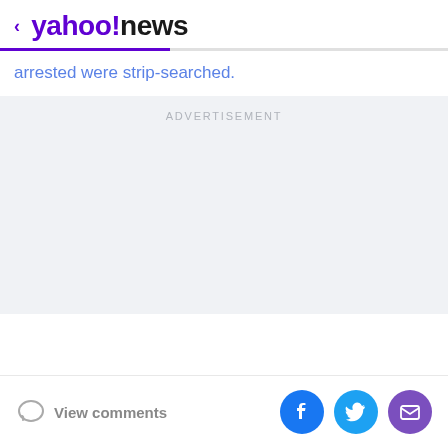< yahoo!news
arrested were strip-searched.
ADVERTISEMENT
View comments